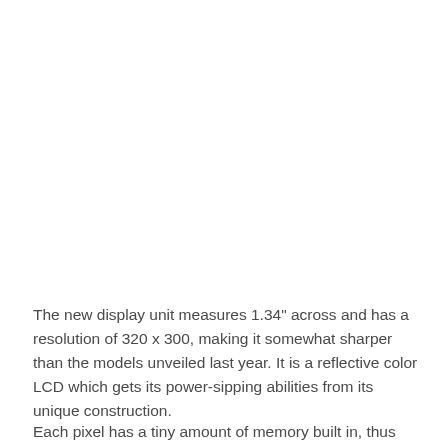The new display unit measures 1.34" across and has a resolution of 320 x 300, making it somewhat sharper than the models unveiled last year. It is a reflective color LCD which gets its power-sipping abilities from its unique construction.
Each pixel has a tiny amount of memory built in, thus saving